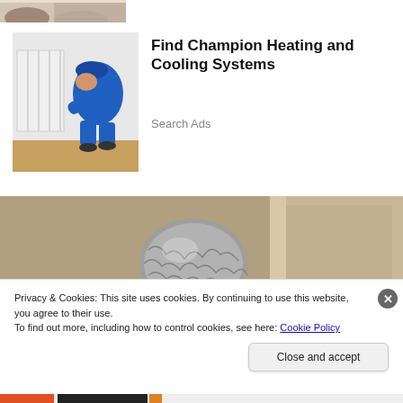[Figure (photo): Partial top image showing people sitting, cropped at top of page]
[Figure (photo): Advertisement image: HVAC technician in blue uniform and cap working on a white radiator]
Find Champion Heating and Cooling Systems
Search Ads
[Figure (photo): Close-up of a flexible metallic HVAC duct/vent installed in a beige wall or door, with beige/tan surroundings]
Privacy & Cookies: This site uses cookies. By continuing to use this website, you agree to their use.
To find out more, including how to control cookies, see here: Cookie Policy
Close and accept